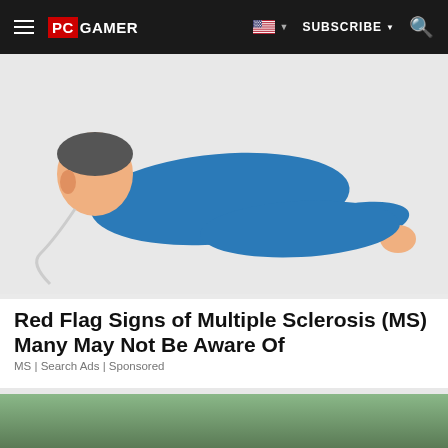PC GAMER | SUBSCRIBE
[Figure (illustration): Cartoon illustration of a person lying face-down in blue outfit with medical monitoring wires attached]
Red Flag Signs of Multiple Sclerosis (MS) Many May Not Be Aware Of
MS | Search Ads | Sponsored
[Figure (screenshot): Destiny 2 Lightfall game advertisement with text: DESTINY 2 LIGHTFALL, OUR END BEGINS, PRE-ORDER NOW, Teen ESRB rating]
[Figure (photo): Destiny 2 Lightfall promotional image showing armored characters with glowing sci-fi background]